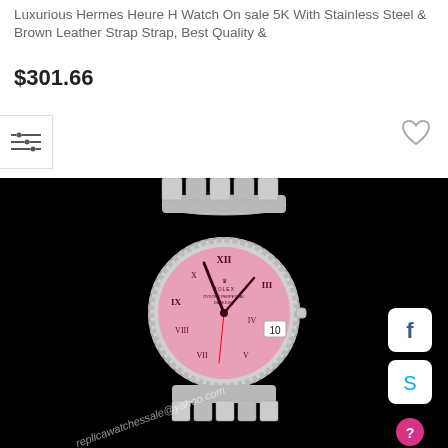Luxurious Hermes Heure H Watch On sale 5K With Stainless Steel & Brown Leather Strap Strap, Best Quality &
$301.66
[Figure (photo): A replica Rolex Datejust ladies watch with pink Roman numeral dial on a jubilee bracelet against a black background, with watermark text 'replicawatchessale@yahoo.com']
[Figure (other): Filter/settings icon with three horizontal lines and sliders]
[Figure (other): Heart/wishlist icon]
[Figure (other): Facebook share button]
[Figure (other): Skype button]
[Figure (other): Help/chat button (pink circle with question mark)]